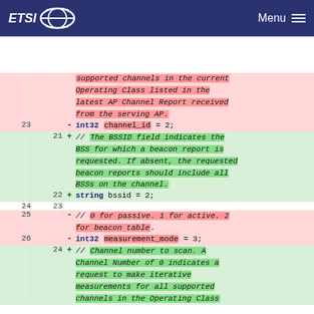ETSI   Menu
[Figure (screenshot): Code diff view showing protobuf field definitions with removed and added lines. Removed lines (red background): line 23 removes 'int32 channel_id = 2;' and a comment about supported channels. Added lines (green background): lines 21-22 add a comment about BSSID field and 'string bssid = 2;'. Lines 25-26 remove a comment about passive/active/beacon table scan modes and 'int32 measurement_mode = 3;'. Line 24 adds a comment about Channel number to scan.]